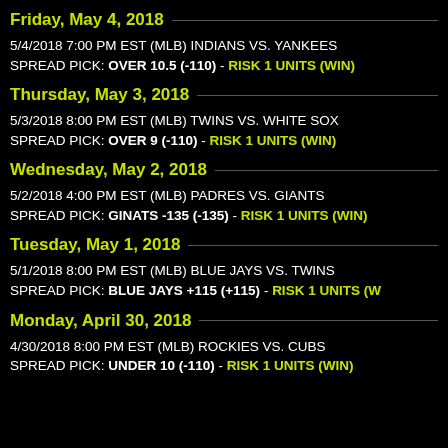Friday, May 4, 2018
5/4/2018 7:00 PM EST (MLB) INDIANS VS. YANKEES
SPREAD PICK: OVER 10.5 (-110) - RISK 1 UNITS (WIN)
Thursday, May 3, 2018
5/3/2018 8:00 PM EST (MLB) TWINS VS. WHITE SOX
SPREAD PICK: OVER 9 (-110) - RISK 1 UNITS (WIN)
Wednesday, May 2, 2018
5/2/2018 4:00 PM EST (MLB) PADRES VS. GIANTS
SPREAD PICK: GINATS -135 (-135) - RISK 1 UNITS (WIN)
Tuesday, May 1, 2018
5/1/2018 8:00 PM EST (MLB) BLUE JAYS VS. TWINS
SPREAD PICK: BLUE JAYS +115 (+115) - RISK 1 UNITS (WIN)
Monday, April 30, 2018
4/30/2018 8:00 PM EST (MLB) ROCKIES VS. CUBS
SPREAD PICK: UNDER 10 (-110) - RISK 1 UNITS (WIN)